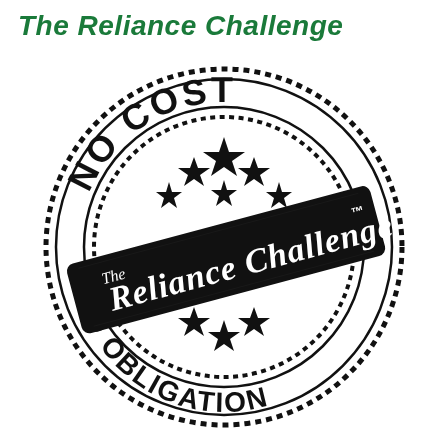The Reliance Challenge
[Figure (illustration): A circular rubber stamp graphic with dotted border rings. Text around the top arc reads 'NO COST' and bottom arc reads 'NO OBLIGATION'. Five-pointed stars are arranged in the center. A dark rectangular banner crosses diagonally over the stamp reading 'The Reliance Challenge' with a trademark symbol (TM).]